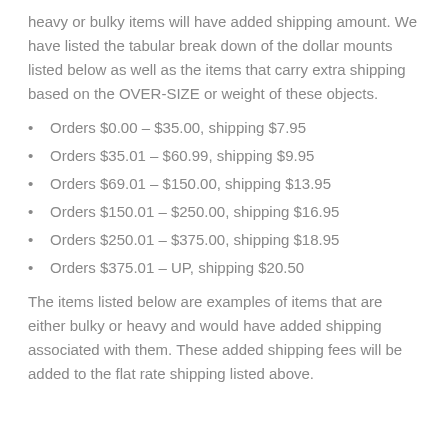heavy or bulky items will have added shipping amount. We have listed the tabular break down of the dollar mounts listed below as well as the items that carry extra shipping based on the OVER-SIZE or weight of these objects.
Orders $0.00 – $35.00, shipping $7.95
Orders $35.01 – $60.99, shipping $9.95
Orders $69.01 – $150.00, shipping $13.95
Orders $150.01 – $250.00, shipping $16.95
Orders $250.01 – $375.00, shipping $18.95
Orders $375.01 – UP, shipping $20.50
The items listed below are examples of items that are either bulky or heavy and would have added shipping associated with them. These added shipping fees will be added to the flat rate shipping listed above.